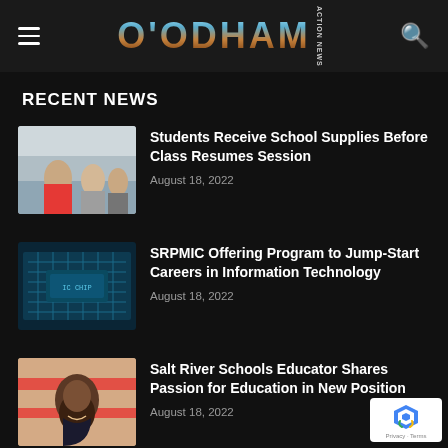O'ODHAM ACTION NEWS
RECENT NEWS
[Figure (photo): Students in a gymnasium, some wearing red and grey clothing]
Students Receive School Supplies Before Class Resumes Session
August 18, 2022
[Figure (photo): Close-up of a computer microchip/circuit board with blue tones]
SRPMIC Offering Program to Jump-Start Careers in Information Technology
August 18, 2022
[Figure (photo): Portrait of a smiling woman with dark hair in a school setting with red and white striped background]
Salt River Schools Educator Shares Passion for Education in New Position
August 18, 2022